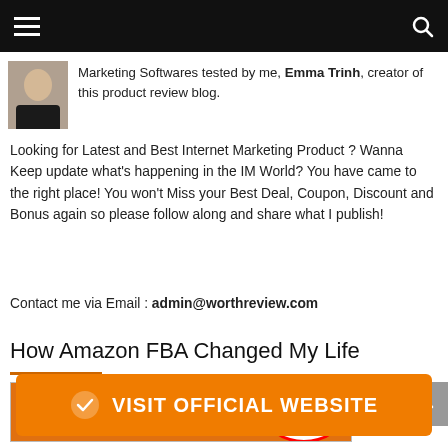Navigation bar with hamburger menu and search icon
Marketing Softwares tested by me, Emma Trinh, creator of this product review blog.
Looking for Latest and Best Internet Marketing Product ? Wanna Keep update what’s happening in the IM World? You have came to the right place! You won’t Miss your Best Deal, Coupon, Discount and Bonus again so please follow along and share what I publish!
Contact me via Email : admin@worthreview.com
How Amazon FBA Changed My Life
[Figure (screenshot): Promotional banner showing 'STEP BY STEP' text on orange background with a red-circled badge showing USD 4,427.10 Sales today so far]
VISIT OFFICIAL WEBSITE